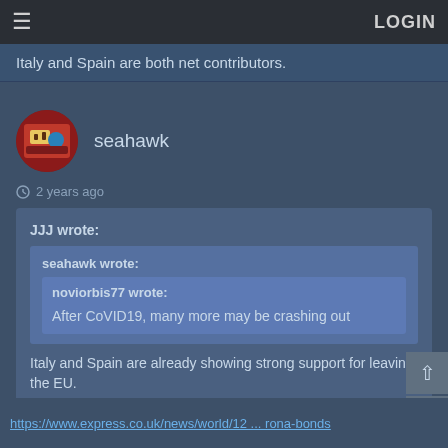≡  LOGIN
Italy and Spain are both net contributors.
seahawk
2 years ago
JJJ wrote:
 seahawk wrote:
  noviorbis77 wrote:
   After CoVID19, many more may be crashing out
 Italy and Spain are already showing strong support for leaving the EU.
https://www.express.co.uk/news/world/12 ... rona-bonds